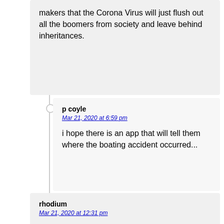makers that the Corona Virus will just flush out all the boomers from society and leave behind inheritances.
p coyle
Mar 21, 2020 at 6:59 pm

i hope there is an app that will tell them where the boating accident occurred...
rhodium
Mar 21, 2020 at 12:31 pm

If you're under poverty level, then you're not the type of boomer that younger folks